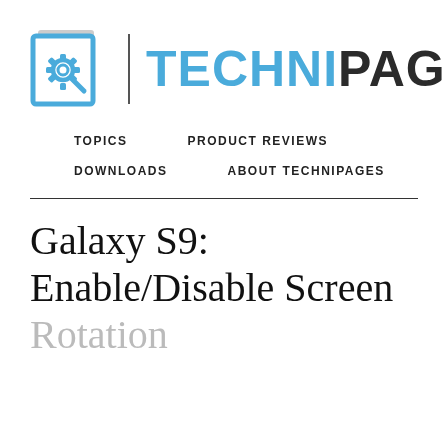[Figure (logo): TechniPages logo with gear/magnifier icon in blue square and brand name TECHNIPAGES with TECHNI in blue and PAGES in dark gray]
TOPICS   PRODUCT REVIEWS   DOWNLOADS   ABOUT TECHNIPAGES
Galaxy S9: Enable/Disable Screen Rotation